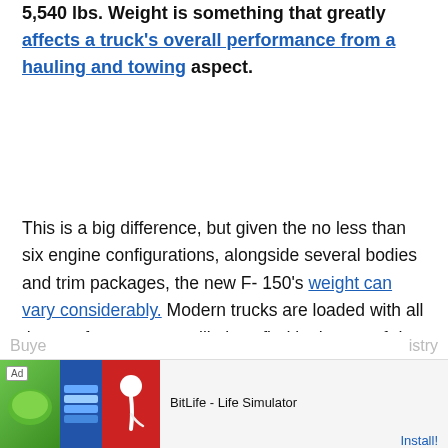5,540 lbs. Weight is something that greatly affects a truck's overall performance from a hauling and towing aspect.
This is a big difference, but given the no less than six engine configurations, alongside several bodies and trim packages, the new F-150's weight can vary considerably. Modern trucks are loaded with all the comforts you were likely to find in the top-of-the-line luxury cars of yesterday.
[Figure (other): Advertisement banner for BitLife - Life Simulator app with green, blue, and red image panels on the left, Ad label, app title, and Install button]